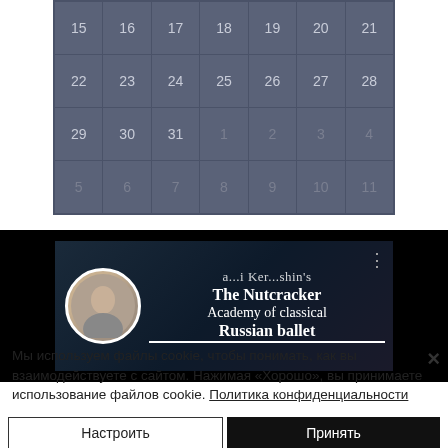[Figure (other): Partial calendar grid showing dates 15–31 and overflow dates 1–11, displayed in a dark blue-gray grid with light-colored numbers]
[Figure (screenshot): Dark banner image showing a circular avatar photo of a person and text reading 'The Nutcracker' / 'Academy of classical Russian ballet' on a dark background]
Мы используем файлы cookie, чтобы понимать, как вы взаимодействуете с сайтом. Нажимая «Хорошо», вы принимаете использование файлов cookie. Политика конфиденциальности
Настроить
Принять